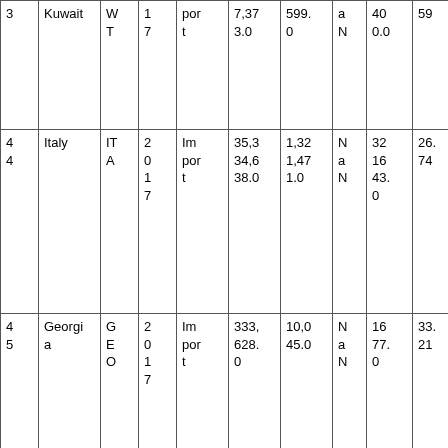| 3 | Kuwait | W
T | 1
7 | por
t | 7,37
3.0 | 599.
0 | a
N | 40
0.0 | 59 |
| 4
4 | Italy | IT
A | 2
0
1
7 | Im
por
t | 35,3
34,6
38.0 | 1,32
1,47
1.0 | N
a
N | 32
16
43.
0 | 26.
74 |
| 4
5 | Georgi
a | G
E
O | 2
0
1
7 | Im
por
t | 333,
628.
0 | 10,0
45.0 | N
a
N | 16
77.
0 | 33.
21 |
|  |  | E | 2 | Im | 32,7 | 929, | N |  |  |